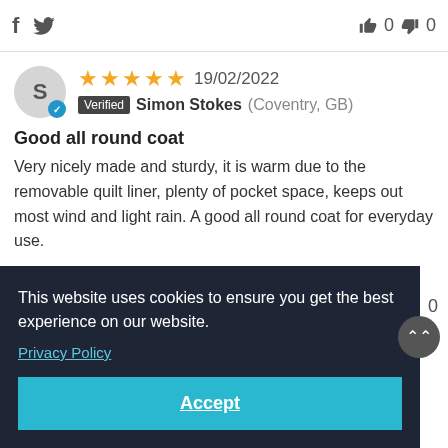[Figure (screenshot): Social share icons: Facebook (f) and Twitter bird icon on the left; thumbs up icon, count 0, thumbs down icon, count 0 on the right]
[Figure (illustration): Circular avatar with letter S and verified checkmark badge]
19/02/2022
Verified  Simon Stokes (Coventry, GB)
Good all round coat
Very nicely made and sturdy, it is warm due to the removable quilt liner, plenty of pocket space, keeps out most wind and light rain. A good all round coat for everyday use.
This website uses cookies to ensure you get the best experience on our website.
Privacy Policy
Accept